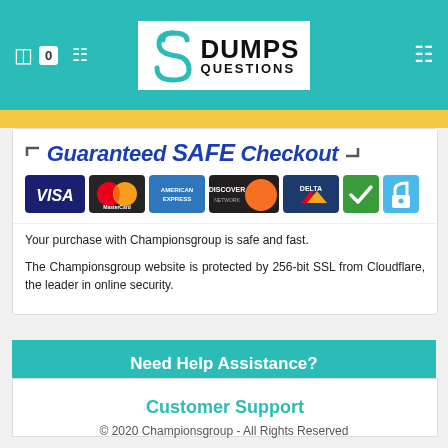DumpsQuestions logo header with navigation icons
[Figure (screenshot): Guaranteed SAFE Checkout banner with payment logos: VISA, MasterCard, American Express, Discover Network, Delta, security checkmark badge, and SSL lock icon]
Your purchase with Championsgroup is safe and fast.
The Championsgroup website is protected by 256-bit SSL from Cloudflare, the leader in online security.
Need Help Assistance?
Customer Support
© 2020 Championsgroup - All Rights Reserved